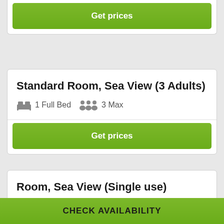[Figure (screenshot): Green 'Get prices' button at top of page, partial card]
Standard Room, Sea View (3 Adults)
1 Full Bed   3 Max
[Figure (screenshot): Green 'Get prices' button]
Room, Sea View (Single use)
2 Twin Beds   1 Max
CHECK AVAILABILITY